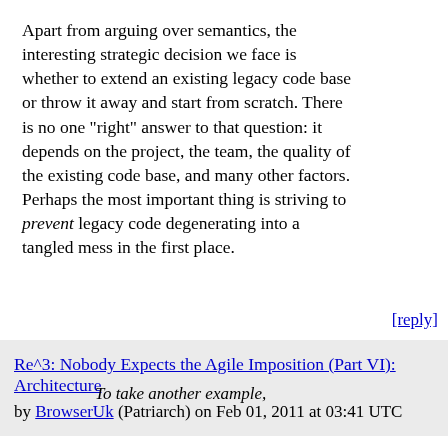Apart from arguing over semantics, the interesting strategic decision we face is whether to extend an existing legacy code base or throw it away and start from scratch. There is no one "right" answer to that question: it depends on the project, the team, the quality of the existing code base, and many other factors. Perhaps the most important thing is striving to prevent legacy code degenerating into a tangled mess in the first place.
[reply]
Re^3: Nobody Expects the Agile Imposition (Part VI): Architecture by BrowserUk (Patriarch) on Feb 01, 2011 at 03:41 UTC
To take another example,